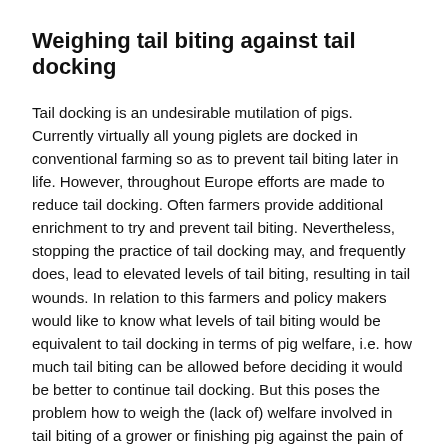Weighing tail biting against tail docking
Tail docking is an undesirable mutilation of pigs. Currently virtually all young piglets are docked in conventional farming so as to prevent tail biting later in life. However, throughout Europe efforts are made to reduce tail docking. Often farmers provide additional enrichment to try and prevent tail biting. Nevertheless, stopping the practice of tail docking may, and frequently does, lead to elevated levels of tail biting, resulting in tail wounds. In relation to this farmers and policy makers would like to know what levels of tail biting would be equivalent to tail docking in terms of pig welfare, i.e. how much tail biting can be allowed before deciding it would be better to continue tail docking. But this poses the problem how to weigh the (lack of) welfare involved in tail biting of a grower or finishing pig against the pain of tail docking of young piglets. Is this possible? And if so, how?